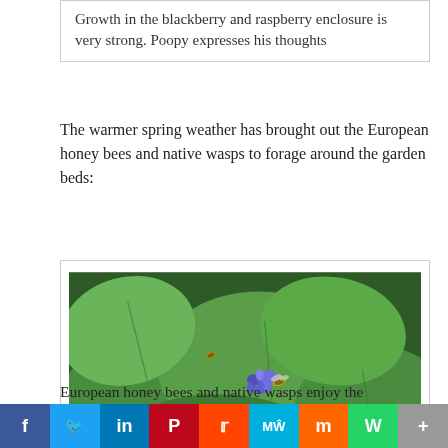Growth in the blackberry and raspberry enclosure is very strong. Poopy expresses his thoughts
The warmer spring weather has brought out the European honey bees and native wasps to forage around the garden beds:
[Figure (photo): Close-up photo of large green leaves with a bee and wasp foraging on a small blue-purple flower in a garden bed.]
European honey bees and native wasps enjoy the